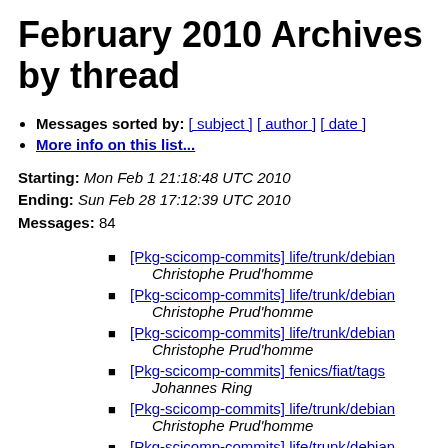February 2010 Archives by thread
Messages sorted by: [ subject ] [ author ] [ date ]
More info on this list...
Starting: Mon Feb 1 21:18:48 UTC 2010
Ending: Sun Feb 28 17:12:39 UTC 2010
Messages: 84
[Pkg-scicomp-commits] life/trunk/debian
Christophe Prud'homme
[Pkg-scicomp-commits] life/trunk/debian
Christophe Prud'homme
[Pkg-scicomp-commits] life/trunk/debian
Christophe Prud'homme
[Pkg-scicomp-commits] fenics/fiat/tags
Johannes Ring
[Pkg-scicomp-commits] life/trunk/debian
Christophe Prud'homme
[Pkg-scicomp-commits] life/trunk/debian
Christophe Prud'homme
[Pkg-scicomp-commits] fenics/ufc/tags